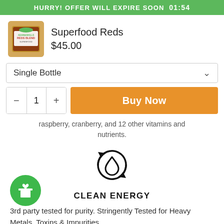HURRY! OFFER WILL EXPIRE SOON 01:54
[Figure (photo): Product image of Superfood Reds Blend jar with green label]
Superfood Reds
$45.00
Single Bottle
- 1 + Buy Now
raspberry, cranberry, and 12 other vitamins and nutrients.
[Figure (illustration): Clean energy icon: water drop with circular arrows]
CLEAN ENERGY
3rd party tested for purity. Stringently Tested for Heavy Metals, Toxins & Impurities.
[Figure (illustration): Green gift/reward button icon]